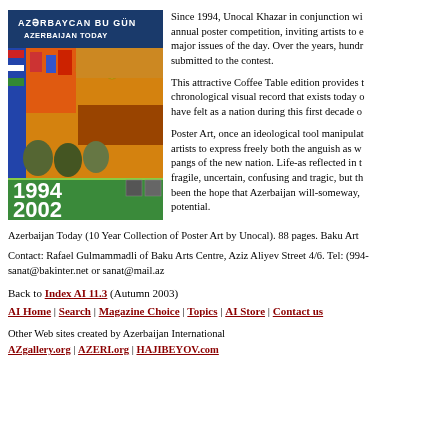[Figure (illustration): Book cover of 'Azerbaijan Today' (Azərbaycan Bu Gün) showing colorful collage of national imagery, dated 1994-2002]
Since 1994, Unocal Khazar in conjunction with an annual poster competition, inviting artists to express major issues of the day. Over the years, hundreds submitted to the contest.

This attractive Coffee Table edition provides a chronological visual record that exists today of have felt as a nation during this first decade of

Poster Art, once an ideological tool manipulated artists to express freely both the anguish as well pangs of the new nation. Life-as reflected in the fragile, uncertain, confusing and tragic, but there been the hope that Azerbaijan will-someway, potential.
Azerbaijan Today (10 Year Collection of Poster Art by Unocal). 88 pages. Baku Art
Contact: Rafael Gulmammadli of Baku Arts Centre, Aziz Aliyev Street 4/6. Tel: (994- sanat@bakinter.net or sanat@mail.az
Back to Index AI 11.3 (Autumn 2003)
AI Home | Search | Magazine Choice | Topics | AI Store | Contact us
Other Web sites created by Azerbaijan International
AZgallery.org | AZERI.org | HAJIBEYOV.com